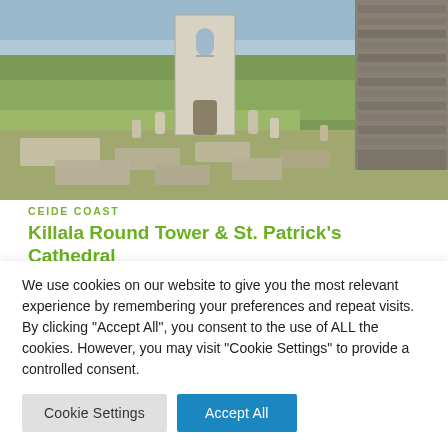[Figure (photo): Photograph of a graveyard with stone grave markers and grass, a whitewashed church or round tower building in the center, and a stone wall on the right side. Blue sky visible at the top.]
CEIDE COAST
Killala Round Tower & St. Patrick's Cathedral
22ND APRIL 2020 - 2 MINS READ
The town of Killala was for centuries the ecclesiastical hub of
We use cookies on our website to give you the most relevant experience by remembering your preferences and repeat visits. By clicking "Accept All", you consent to the use of ALL the cookies. However, you may visit "Cookie Settings" to provide a controlled consent.
Cookie Settings
Accept All